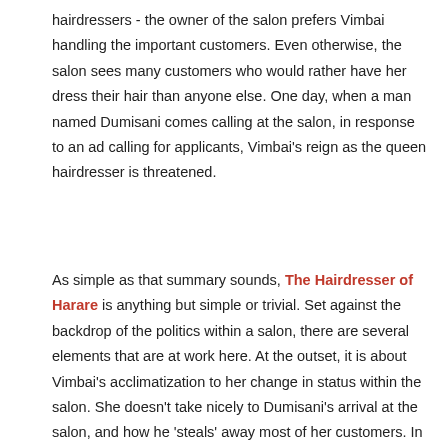hairdressers - the owner of the salon prefers Vimbai handling the important customers. Even otherwise, the salon sees many customers who would rather have her dress their hair than anyone else. One day, when a man named Dumisani comes calling at the salon, in response to an ad calling for applicants, Vimbai's reign as the queen hairdresser is threatened.
As simple as that summary sounds, The Hairdresser of Harare is anything but simple or trivial. Set against the backdrop of the politics within a salon, there are several elements that are at work here. At the outset, it is about Vimbai's acclimatization to her change in status within the salon. She doesn't take nicely to Dumisani's arrival at the salon, and how he 'steals' away most of her customers. In addition, when he gets promoted over her despite how much longer she had worked at the salon, she feels all her dreams slipping away from her. Although I initially felt annoyed with Vimbai because of her vain thoughts and how much she prejudiced herself against Dumisani, I realized that she was just protecting herself from the changes resulting from Dumisani's arrival, changes that admittedly haven't been nice to her.
In addition to the hairdresser's battles, there are several other pivotal things going on. Early on, it becomes obvious that one of the characters has a huge